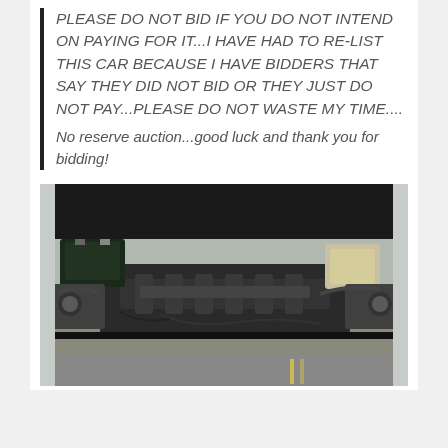PLEASE DO NOT BID IF YOU DO NOT INTEND ON PAYING FOR IT...I HAVE HAD TO RE-LIST THIS CAR BECAUSE I HAVE BIDDERS THAT SAY THEY DID NOT BID OR THEY JUST DO NOT PAY...PLEASE DO NOT WASTE MY TIME....
No reserve auction...good luck and thank you for bidding!
[Figure (photo): Car engine bay photo showing an open hood with the engine compartment visible, including intake manifold, battery, and various engine components.]